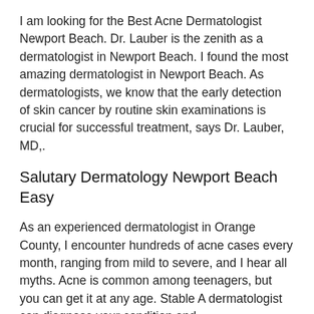I am looking for the Best Acne Dermatologist Newport Beach. Dr. Lauber is the zenith as a dermatologist in Newport Beach. I found the most amazing dermatologist in Newport Beach. As dermatologists, we know that the early detection of skin cancer by routine skin examinations is crucial for successful treatment, says Dr. Lauber, MD,.
Salutary Dermatology Newport Beach Easy
As an experienced dermatologist in Orange County, I encounter hundreds of acne cases every month, ranging from mild to severe, and I hear all myths. Acne is common among teenagers, but you can get it at any age. Stable A dermatologist can diagnose your condition and